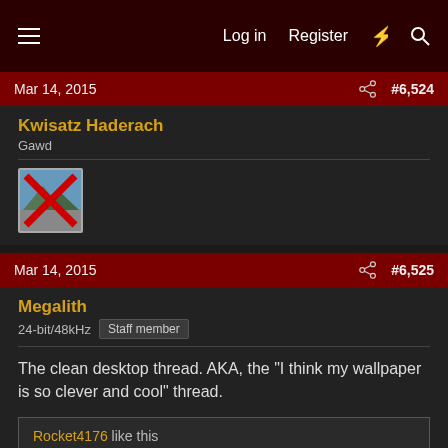Log in  Register
Mar 14, 2015  #6,524
Kwisatz Haderach
Gawd
[Figure (photo): Broken image placeholder icon with red X]
Mar 14, 2015  #6,525
Megalith
24-bit/48kHz  Staff member
The clean desktop thread. AKA, the "I think my wallpaper is so clever and cool" thread.
Rocket4176 like this